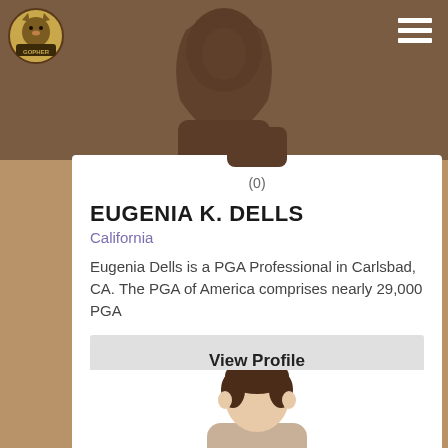[Figure (screenshot): Website header with logo and hamburger menu on brown background]
[Figure (illustration): Illustrated avatar of a person with dark clothing on brown background, top of card]
(0)
EUGENIA K. DELLS
California
Eugenia Dells is a PGA Professional in Carlsbad, CA. The PGA of America comprises nearly 29,000 PGA
View Profile
[Figure (illustration): Illustrated avatar of a male person with brown hair, partial view at bottom of page]